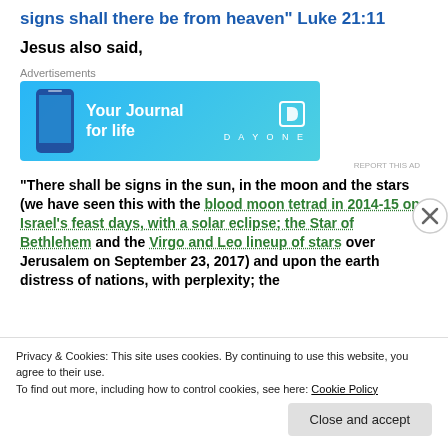signs shall there be from heaven" Luke 21:11
Jesus also said,
[Figure (other): Advertisement banner for Day One - Your Journal for life app]
“There shall be signs in the sun, in the moon and the stars (we have seen this with the blood moon tetrad in 2014-15 on Israel’s feast days, with a solar eclipse; the Star of Bethlehem and the Virgo and Leo lineup of stars over Jerusalem on September 23, 2017) and upon the earth distress of nations, with perplexity; the
Privacy & Cookies: This site uses cookies. By continuing to use this website, you agree to their use. To find out more, including how to control cookies, see here: Cookie Policy
Close and accept